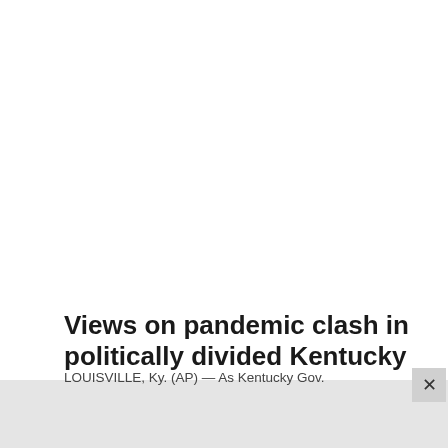Views on pandemic clash in politically divided Kentucky
LOUISVILLE, Ky. (AP) — As Kentucky Gov.